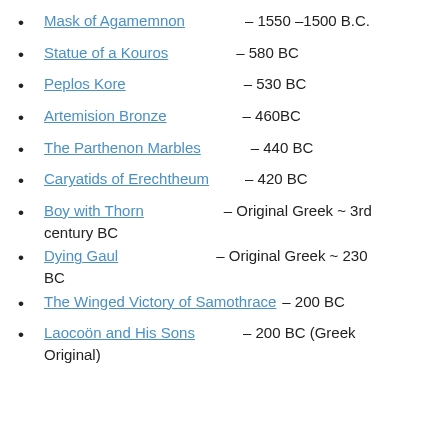Mask of Agamemnon – 1550 –1500 B.C.
Statue of a Kouros – 580 BC
Peplos Kore – 530 BC
Artemision Bronze – 460BC
The Parthenon Marbles – 440 BC
Caryatids of Erechtheum – 420 BC
Boy with Thorn – Original Greek ~ 3rd century BC
Dying Gaul – Original Greek ~ 230 BC
The Winged Victory of Samothrace – 200 BC
Laocoön and His Sons – 200 BC (Greek Original)